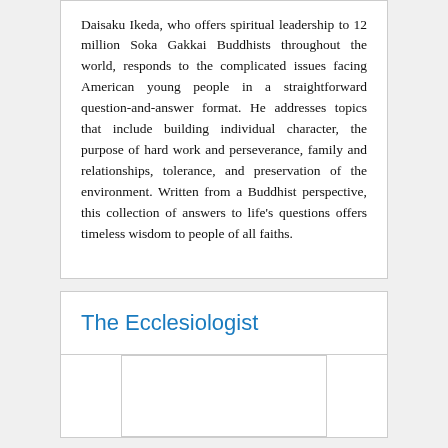Daisaku Ikeda, who offers spiritual leadership to 12 million Soka Gakkai Buddhists throughout the world, responds to the complicated issues facing American young people in a straightforward question-and-answer format. He addresses topics that include building individual character, the purpose of hard work and perseverance, family and relationships, tolerance, and preservation of the environment. Written from a Buddhist perspective, this collection of answers to life's questions offers timeless wisdom to people of all faiths.
The Ecclesiologist